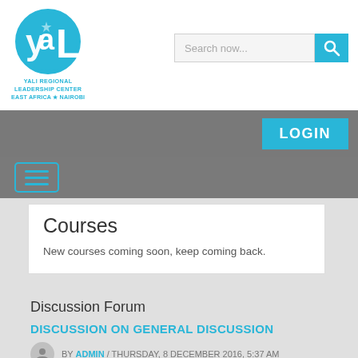[Figure (logo): YALI Regional Leadership Center East Africa - Nairobi logo: blue circle with YAL letters and star graphic]
Search now...
LOGIN
[Figure (other): Hamburger menu button icon with three horizontal lines in teal/cyan color]
Courses
New courses coming soon, keep coming back.
Discussion Forum
DISCUSSION ON GENERAL DISCUSSION
BY ADMIN / THURSDAY, 8 DECEMBER 2016, 5:37 AM
DISCUSSION ON GENERAL DISCUSSION